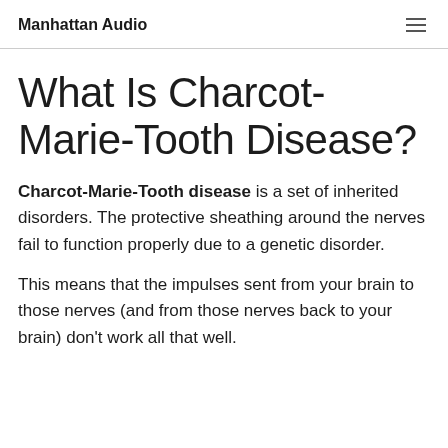Manhattan Audio
What Is Charcot-Marie-Tooth Disease?
Charcot-Marie-Tooth disease is a set of inherited disorders. The protective sheathing around the nerves fail to function properly due to a genetic disorder.
This means that the impulses sent from your brain to those nerves (and from those nerves back to your brain) don’t work all that well.